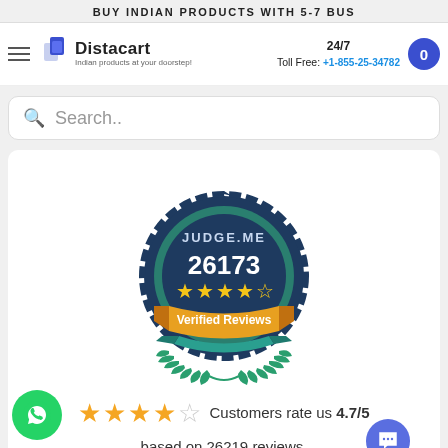BUY INDIAN PRODUCTS WITH 5-7 BUS
[Figure (screenshot): Distacart website header with logo, 24/7 toll free number +1-855-25-34782, and cart button]
Search..
[Figure (logo): Judge.me badge showing 26173 verified reviews with 4.5 star rating]
Customers rate us 4.7/5 based on 26219 reviews.